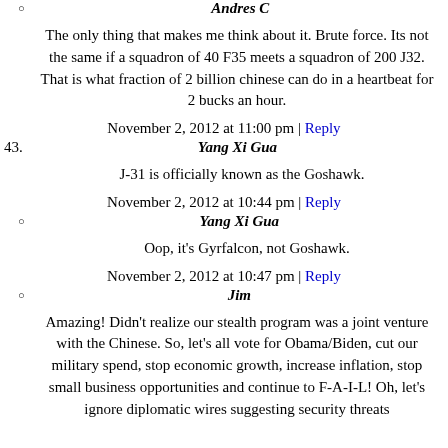Andres C
The only thing that makes me think about it. Brute force. Its not the same if a squadron of 40 F35 meets a squadron of 200 J32. That is what fraction of 2 billion chinese can do in a heartbeat for 2 bucks an hour.
November 2, 2012 at 11:00 pm | Reply
43. Yang Xi Gua
J-31 is officially known as the Goshawk.
November 2, 2012 at 10:44 pm | Reply
Yang Xi Gua
Oop, it's Gyrfalcon, not Goshawk.
November 2, 2012 at 10:47 pm | Reply
Jim
Amazing! Didn't realize our stealth program was a joint venture with the Chinese. So, let's all vote for Obama/Biden, cut our military spend, stop economic growth, increase inflation, stop small business opportunities and continue to F-A-I-L! Oh, let's ignore diplomatic wires suggesting security threats